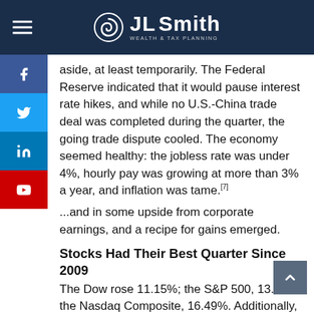JL Smith Wealth & Tax Planning
aside, at least temporarily. The Federal Reserve indicated that it would pause interest rate hikes, and while no U.S.-China trade deal was completed during the quarter, the going trade dispute cooled. The economy seemed healthy: the jobless rate was under 4%, hourly pay was growing at more than 3% a year, and inflation was tame.[7]
...and in some upside from corporate earnings, and a recipe for gains emerged.
Stocks Had Their Best Quarter Since 2009
The Dow rose 11.15%; the S&P 500, 13.07%; the Nasdaq Composite, 16.49%. Additionally, this was the best first quarter seen on Wall Street since 1998.[8]
The Fed Held Interest Rates Steady
In March, the Federal Reserve left the benchmark interest